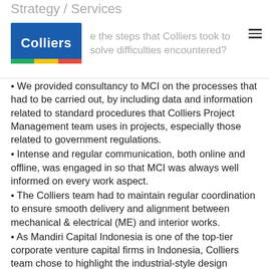Strategy / Services
What are the steps that Colliers took to solve difficulties encountered?
We provided consultancy to MCI on the processes that had to be carried out, by including data and information related to standard procedures that Colliers Project Management team uses in projects, especially those related to government regulations.
Intense and regular communication, both online and offline, was engaged in so that MCI was always well informed on every work aspect.
The Colliers team had to maintain regular coordination to ensure smooth delivery and alignment between mechanical & electrical (ME) and interior works.
As Mandiri Capital Indonesia is one of the top-tier corporate venture capital firms in Indonesia, Colliers team chose to highlight the industrial-style design aesthetic for this office. Due to the hybrid working